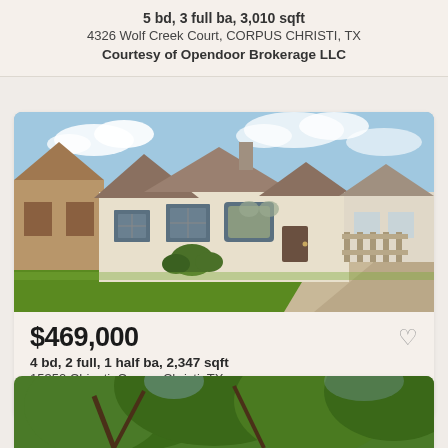5 bd, 3 full ba, 3,010 sqft
4326 Wolf Creek Court, CORPUS CHRISTI, TX
Courtesy of Opendoor Brokerage LLC
[Figure (photo): Exterior photo of a single-story residential home with large green lawn, multiple gabled rooflines, arched windows, and attached garage. Blue sky with clouds visible.]
$469,000
4 bd, 2 full, 1 half ba, 2,347 sqft
15350 Chianti, Corpus Christi, TX
Courtesy of Ultima Real Estate
[Figure (photo): Partial exterior photo of a property showing large tree canopy with green foliage.]